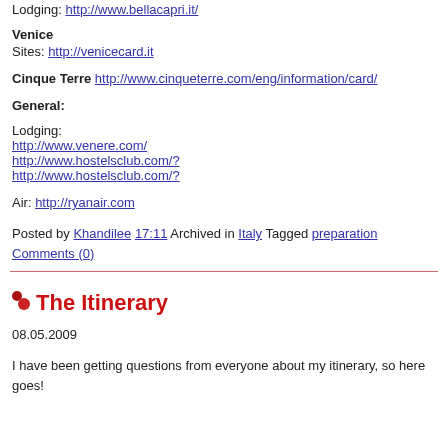Lodging: http://www.bellacapri.it/
Venice
Sites: http://venicecard.it
Cinque Terre http://www.cinqueterre.com/eng/information/card/
General:
Lodging:
http://www.venere.com/
http://www.hostelsclub.com/?
http://www.hostelsclub.com/?
Air: http://ryanair.com
Posted by Khandilee 17:11 Archived in Italy Tagged preparation Comments (0)
The Itinerary
08.05.2009
I have been getting questions from everyone about my itinerary, so here goes!